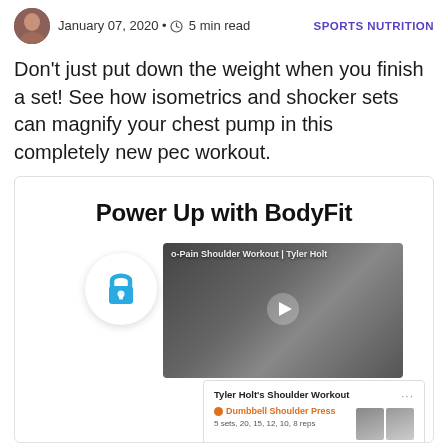January 07, 2020 • 5 min read | SPORTS NUTRITION
Don't just put down the weight when you finish a set! See how isometrics and shocker sets can magnify your chest pump in this completely new pec workout.
[Figure (screenshot): Promotional box for BodyFit subscription featuring title 'Power Up with BodyFit', a locked video thumbnail showing a shoulder workout by Tyler Holt with a play button, a lock icon overlay, and a workout card showing 'Tyler Holt's Shoulder Workout' with 'Dumbbell Shoulder Press' exercise and '5 sets, 20, 15, 12, 10, 8 reps']